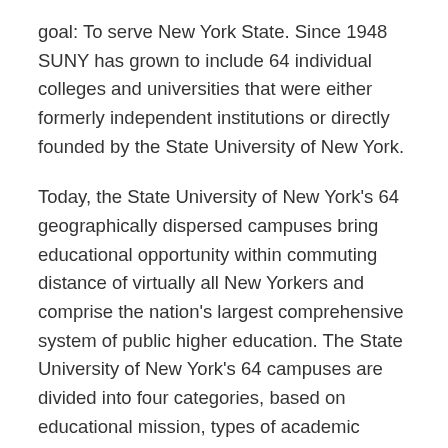goal: To serve New York State. Since 1948 SUNY has grown to include 64 individual colleges and universities that were either formerly independent institutions or directly founded by the State University of New York.
Today, the State University of New York's 64 geographically dispersed campuses bring educational opportunity within commuting distance of virtually all New Yorkers and comprise the nation's largest comprehensive system of public higher education. The State University of New York's 64 campuses are divided into four categories, based on educational mission, types of academic opportunities available and degrees offered. SUNY offers students a wide diversity of educational options including short-term vocational/technical courses, certificate, associate, and baccalaureate degree programs, graduate degrees and post-doctoral studies. SUNY provides access to almost every field of